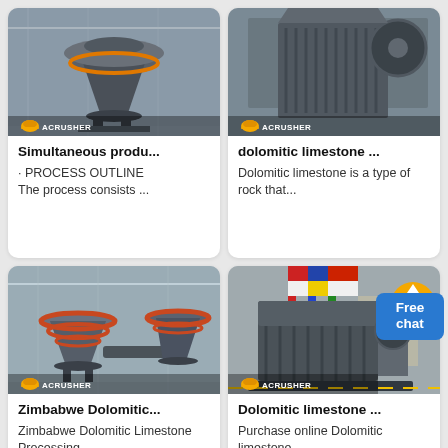[Figure (photo): Industrial cone crusher machine in a factory — Acrusher brand logo visible]
Simultaneous produ...
· PROCESS OUTLINE The process consists ...
[Figure (photo): Industrial jaw crusher machine in a factory — Acrusher brand logo visible]
dolomitic limestone ...
Dolomitic limestone is a type of rock that...
[Figure (photo): Multiple large cone crushers in factory floor — Acrusher brand. Zimbabwe Dolomitic Limestone Processing.]
Zimbabwe Dolomitic...
Zimbabwe Dolomitic Limestone Processing...
[Figure (photo): Heavy impact crusher machine in factory — Acrusher brand logo. Dolomitic limestone purchase.]
Dolomitic limestone ...
Purchase online Dolomitic limestone...